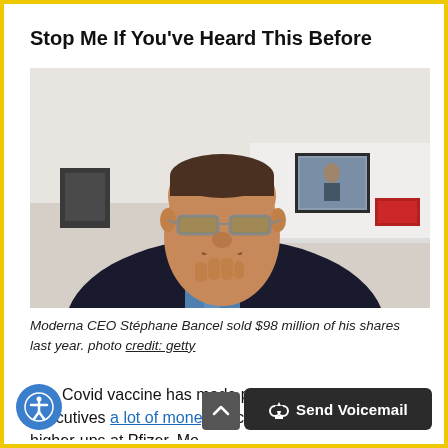Stop Me If You've Heard This Before
[Figure (photo): Moderna CEO Stéphane Bancel in a video call, wearing a dark blazer, sitting in front of a white shelf with a framed photo and red box, resting his chin on his hand.]
Moderna CEO Stéphane Bancel sold $98 million of his shares last year. photo credit: getty
The Covid vaccine has made pharmaceutical executives a lot of money. According to a new report, higher-ups at Pfizer, Mo…